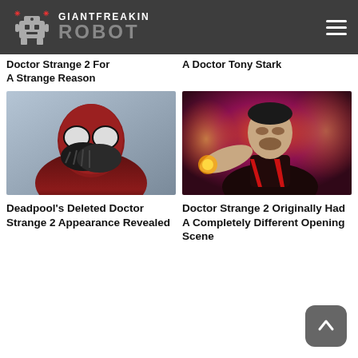Giant Freakin Robot
Doctor Strange 2 For A Strange Reason
A Doctor Tony Stark
[Figure (photo): Deadpool character in red and black suit with hands on face in shocked pose]
[Figure (photo): Doctor Strange in dark red and black suit casting magic with glowing effects]
Deadpool’s Deleted Doctor Strange 2 Appearance Revealed
Doctor Strange 2 Originally Had A Completely Different Opening Scene